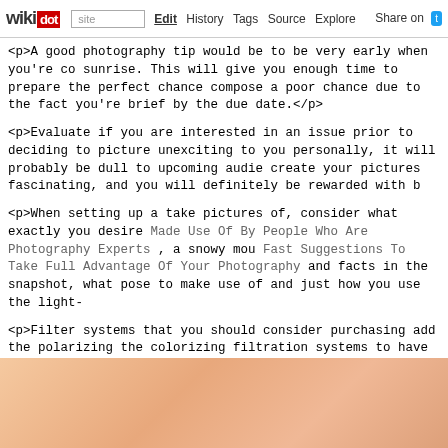wikidot | site Edit History Tags Source Explore Share on Twitter
<p>A good photography tip would be to be very early when you're co sunrise. This will give you enough time to prepare the perfect chance compose a poor chance due to the fact you're brief by the due date.</p>
<p>Evaluate if you are interested in an issue prior to deciding to picture unexciting to you personally, it will probably be dull to upcoming audie create your pictures fascinating, and you will definitely be rewarded with b
<p>When setting up a take pictures of, consider what exactly you desire Made Use Of By People Who Are Photography Experts , a snowy mou Fast Suggestions To Take Full Advantage Of Your Photography and facts in the snapshot, what pose to make use of and just how you use the light-
<p>Filter systems that you should consider purchasing add the polarizing the colorizing filtration systems to have an added richness in different col A lot of filtering consequences can now be included following the pictu program.</p>
<p>Try shifting your issue to the left or right in the screen, rather than gett rule of thirds. To accomplish this, visualize you will discover a grid on horizontally as well as two proceeding up and down. Some cameras do place your topic the location where the collections come together.</p>
[Figure (photo): A blurred orange-peach toned image, appears to be a photo at the bottom of the page]